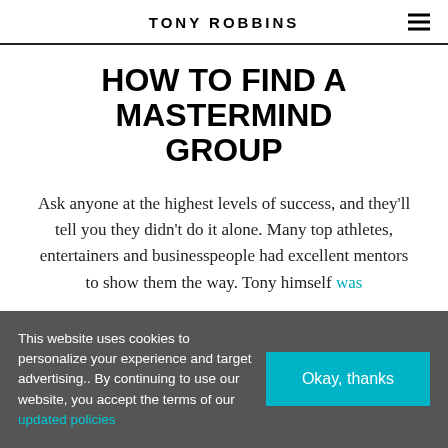TONY ROBBINS
HOW TO FIND A MASTERMIND GROUP
Ask anyone at the highest levels of success, and they'll tell you they didn't do it alone. Many top athletes, entertainers and businesspeople had excellent mentors to show them the way. Tony himself was
This website uses cookies to personalize your experience and target advertising.. By continuing to use our website, you accept the terms of our updated policies